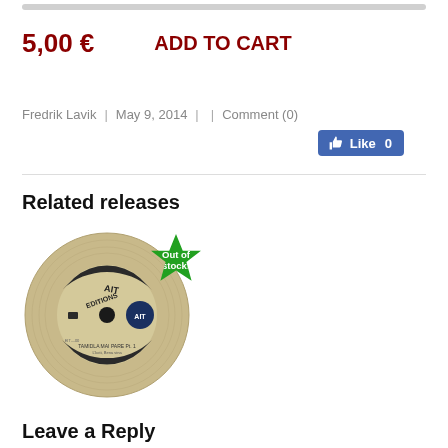5,00 €  ADD TO CART
Fredrik Lavik  |  May 9, 2014  |  |  Comment (0)
[Figure (infographic): Facebook Like button showing 'Like 0' with thumbs up icon on blue background]
Related releases
[Figure (photo): Vinyl record with 'Editions AIT' label. Label reads: TAMIDLA MAI PARE Pt.1 with other text. Green star badge says 'Out of stock!']
Leave a Reply